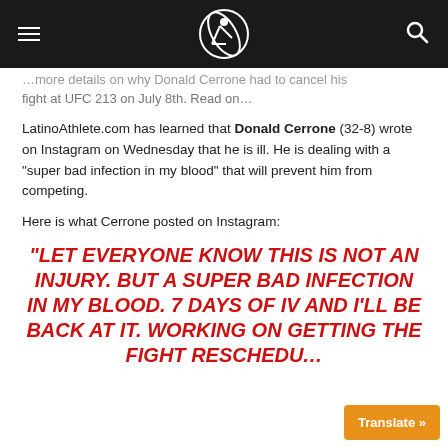[Logo: LatinoAthlete.com]
…more details on why Donald Cerrone had to cancel his fight at UFC 213 on July 8th. Read on…
LatinoAthlete.com has learned that Donald Cerrone (32-8) wrote on Instagram on Wednesday that he is ill. He is dealing with a "super bad infection in my blood" that will prevent him from competing.
Here is what Cerrone posted on Instagram:
“LET EVERYONE KNOW THIS IS NOT AN INJURY. BUT A SUPER BAD INFECTION IN MY BLOOD. 7 DAYS OF IV AND I’LL BE BACK AT IT. WORKING ON GETTING THE FIGHT RESCHED…